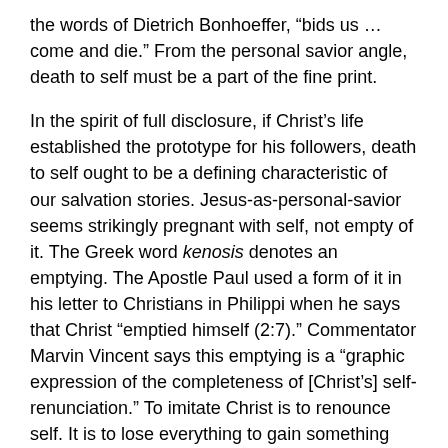the words of Dietrich Bonhoeffer, “bids us … come and die.” From the personal savior angle, death to self must be a part of the fine print.
In the spirit of full disclosure, if Christ’s life established the prototype for his followers, death to self ought to be a defining characteristic of our salvation stories. Jesus-as-personal-savior seems strikingly pregnant with self, not empty of it. The Greek word kenosis denotes an emptying. The Apostle Paul used a form of it in his letter to Christians in Philippi when he says that Christ “emptied himself (2:7).” Commentator Marvin Vincent says this emptying is a “graphic expression of the completeness of [Christ’s] self-renunciation.” To imitate Christ is to renounce self. It is to lose everything to gain something that cannot be seen. A savior who dies a shameful, humiliating death is a pretty radical prototype. Not exactly the product that lends itself to mass marketing.